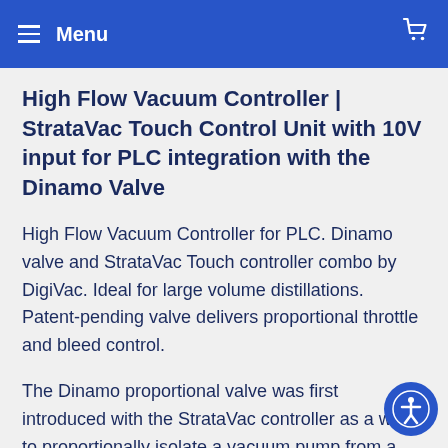Menu
High Flow Vacuum Controller | StrataVac Touch Control Unit with 10V input for PLC integration with the Dinamo Valve
High Flow Vacuum Controller for PLC. Dinamo valve and StrataVac Touch controller combo by DigiVac. Ideal for large volume distillations. Patent-pending valve delivers proportional throttle and bleed control.
The Dinamo proportional valve was first introduced with the StrataVac controller as a way to proportionally isolate a vacuum pump from a chamber as well as vent that same chamber from a single valve module.  The benefit of this Dinamo valve module is precise vacuum control while still